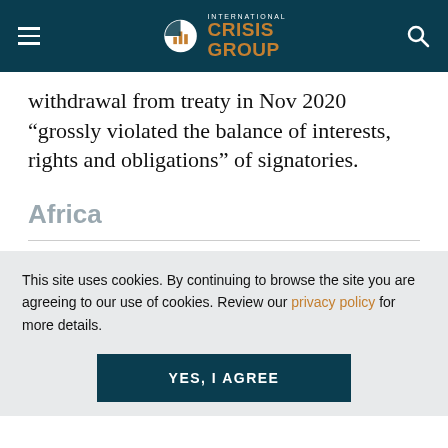International Crisis Group
withdrawal from treaty in Nov 2020 “grossly violated the balance of interests, rights and obligations” of signatories.
Africa
This site uses cookies. By continuing to browse the site you are agreeing to our use of cookies. Review our privacy policy for more details.
YES, I AGREE